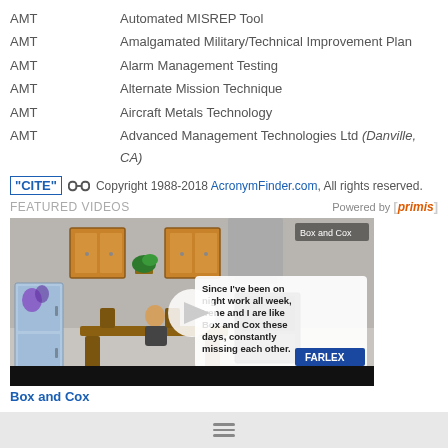AMT   Automated MISREP Tool
AMT   Amalgamated Military/Technical Improvement Plan
AMT   Alarm Management Testing
AMT   Alternate Mission Technique
AMT   Aircraft Metals Technology
AMT   Advanced Management Technologies Ltd (Danville, CA)
"CITE" [link icon] Copyright 1988-2018 AcronymFinder.com, All rights reserved.
FEATURED VIDEOS   Powered by [primis]
[Figure (screenshot): Video thumbnail showing animated cartoon kitchen scene with text 'Since I've been on night work all week, Irene and I are like Box and Cox these days, constantly missing each other.' with Farlex logo and 'Box and Cox' label in upper right.]
Box and Cox